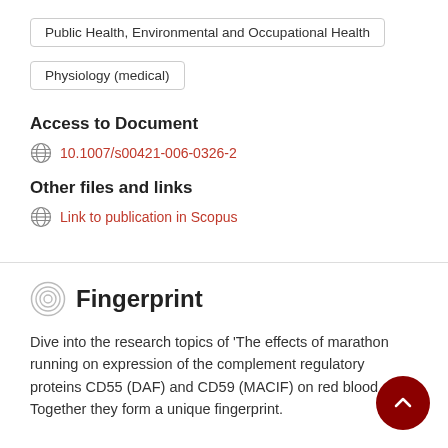Public Health, Environmental and Occupational Health
Physiology (medical)
Access to Document
10.1007/s00421-006-0326-2
Other files and links
Link to publication in Scopus
Fingerprint
Dive into the research topics of 'The effects of marathon running on expression of the complement regulatory proteins CD55 (DAF) and CD59 (MACIF) on red blood cells'. Together they form a unique fingerprint.